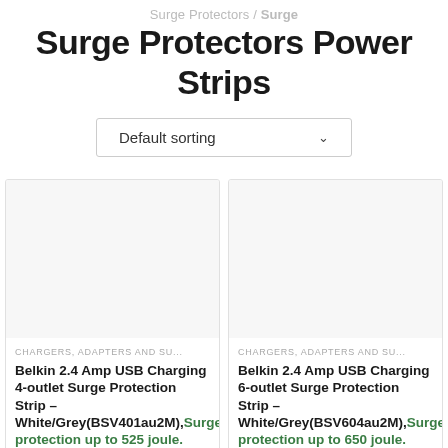Surge Protectors / Surge Protectors Power Strips
Surge Protectors Power Strips
Default sorting
CHARGERS, ADAPTERS AND SU... Belkin 2.4 Amp USB Charging 4-outlet Surge Protection Strip – White/Grey(BSV401au2M),Surge protection up to 525 joule. Power resistance
CHARGERS, ADAPTERS AND SU... Belkin 2.4 Amp USB Charging 6-outlet Surge Protection Strip – White/Grey(BSV604au2M),Surge protection up to 650 joule. Power resistance